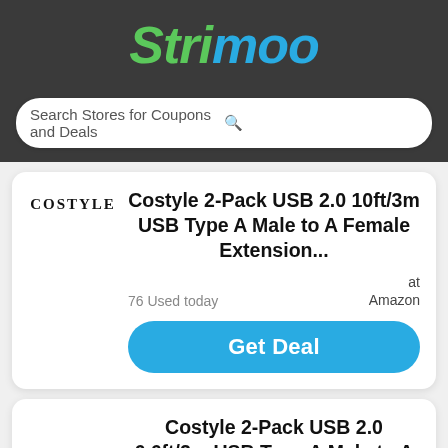[Figure (logo): Strimoo logo in italic bold font, 'Str' and 'i' in green, 'moo' in blue, on dark gray background]
Search Stores for Coupons and Deals
Costyle 2-Pack USB 2.0 10ft/3m USB Type A Male to A Female Extension...
76 Used today
at Amazon
Get Deal
Costyle 2-Pack USB 2.0 6.6ft/2m USB Type A Male to A Female